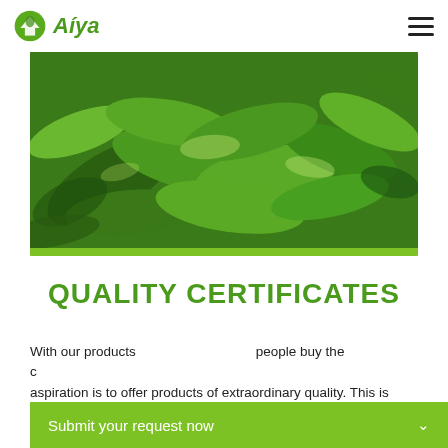Aiya
[Figure (photo): Close-up photo of green tea leaves piled together, showing various shades of green with light reflecting off the leaf surfaces.]
QUALITY CERTIFICATES
With our products ... people buy the c... aspiration is to offer products of extraordinary quality. This is
Submit your request now